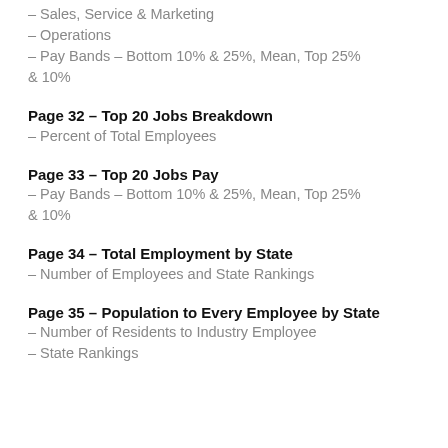– Sales, Service & Marketing
– Operations
– Pay Bands – Bottom 10% & 25%, Mean, Top 25% & 10%
Page 32 – Top 20 Jobs Breakdown
– Percent of Total Employees
Page 33 – Top 20 Jobs Pay
– Pay Bands – Bottom 10% & 25%, Mean, Top 25% & 10%
Page 34 – Total Employment by State
– Number of Employees and State Rankings
Page 35 – Population to Every Employee by State
– Number of Residents to Industry Employee
– State Rankings